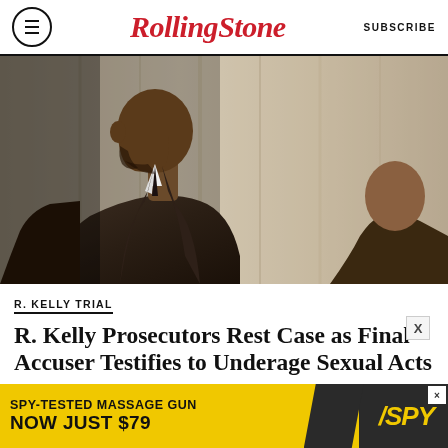Rolling Stone | SUBSCRIBE
[Figure (photo): Man in dark suit shown from the shoulders up in profile view, looking downward, in what appears to be a courtroom or formal setting. Other figures visible in background.]
R. KELLY TRIAL
R. Kelly Prosecutors Rest Case as Final Accuser Testifies to Underage Sexual Acts
[Figure (infographic): Advertisement banner: SPY-TESTED MASSAGE GUN NOW JUST $79 with SPY logo on yellow background]